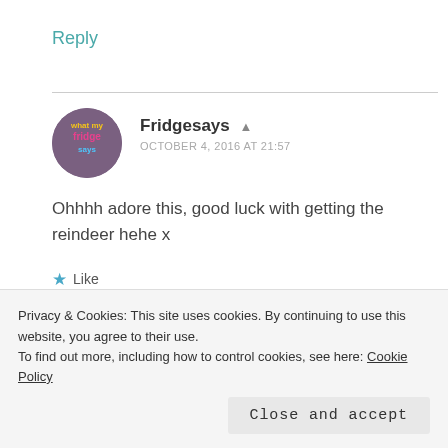Reply
Fridgesays  OCTOBER 4, 2016 AT 21:57
Ohhhh adore this, good luck with getting the reindeer hehe x
★ Like
Privacy & Cookies: This site uses cookies. By continuing to use this website, you agree to their use. To find out more, including how to control cookies, see here: Cookie Policy
Close and accept